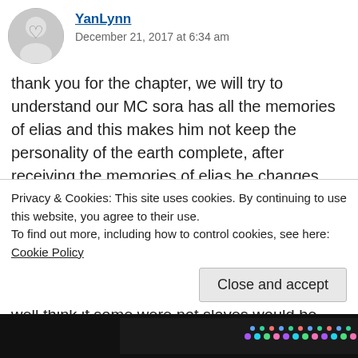YanLynn
December 21, 2017 at 6:34 am
thank you for the chapter, we will try to understand our MC sora has all the memories of elias and this makes him not keep the personality of the earth complete, after receiving the memories of elias he changes several points of view, and Elijah must have seen many things in the world, in some novels they say that slavery in this way of life is not so bad, it is rather the way slaves are treated like work rights, such as not being beaten or raped, well think if some were not slaves would be thugs or die of hunger, remember that these days is a disgusting act, more
Privacy & Cookies: This site uses cookies. By continuing to use this website, you agree to their use.
To find out more, including how to control cookies, see here: Cookie Policy
Close and accept